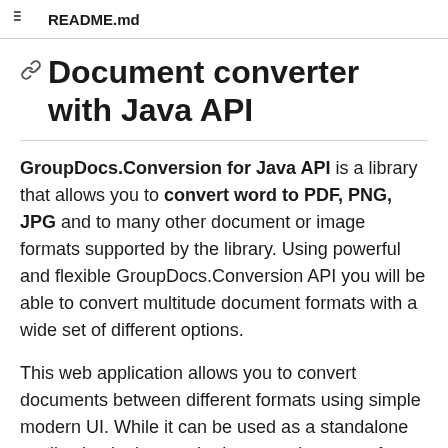README.md
Document converter with Java API
GroupDocs.Conversion for Java API is a library that allows you to convert word to PDF, PNG, JPG and to many other document or image formats supported by the library. Using powerful and flexible GroupDocs.Conversion API you will be able to convert multitude document formats with a wide set of different options.
This web application allows you to convert documents between different formats using simple modern UI. While it can be used as a standalone application it also can be integrated as part of your project.
Note: without a license application will run in trial